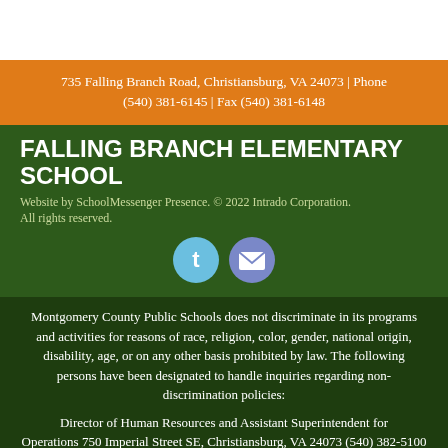735 Falling Branch Road, Christiansburg, VA 24073 | Phone (540) 381-6145 | Fax (540) 381-6148
FALLING BRANCH ELEMENTARY SCHOOL
Website by SchoolMessenger Presence. © 2022 Intrado Corporation. All rights reserved.
[Figure (illustration): Twitter bird icon (blue circle) and email envelope icon (purple-blue circle)]
Montgomery County Public Schools does not discriminate in its programs and activities for reasons of race, religion, color, gender, national origin, disability, age, or on any other basis prohibited by law. The following persons have been designated to handle inquiries regarding non-discrimination policies:
Director of Human Resources and Assistant Superintendent for Operations 750 Imperial Street SE, Christiansburg, VA 24073 (540) 382-5100